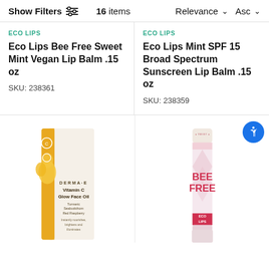Show Filters  16 items  Relevance Asc
ECO LIPS
Eco Lips Bee Free Sweet Mint Vegan Lip Balm .15 oz
SKU: 238361
ECO LIPS
Eco Lips Mint SPF 15 Broad Spectrum Sunscreen Lip Balm .15 oz
SKU: 238359
[Figure (photo): Product image of DERMA-E Vitamin C Glow Face Oil in a white and yellow box with flower illustration]
[Figure (photo): Product image of Eco Lips Bee Free lip balm stick in pink packaging]